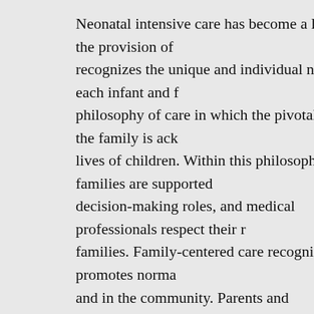Neonatal intensive care has become a leader in the provision of [family-centered care, a philosophy that] recognizes the unique and individual needs of each infant and family. Family-centered care is a philosophy of care in which the pivotal role of the family is acknowledged in the lives of children. Within this philosophy, families are supported in their natural care-giving and decision-making roles, and medical professionals respect their roles as parents and members of families. Family-centered care recognizes and promotes normal patterns of living at home and in the community. Parents and professionals are seen as equal partners in providing care to the child and the development of optimal quality in the delivery of health care services. Family-centered care also helps the family achieve the best possible quality of life by promoting the growth and development of individual members of the family. Family-centered care strengthens the family unit through advocacy, empowerment, and assisting parents to nurture and support their child's development.
Family centered caregiving interventions include individualizing care and clustering of caregiving tasks. "Clustering" caregiving increases rest periods by providing medical and supportive interventions based on the individual needs of the infant, supporting the infant's long-term development by ac...